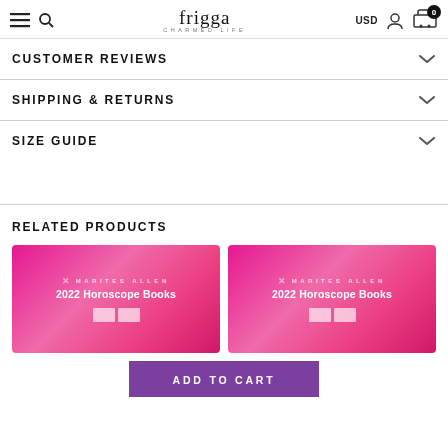frigga CHARMED LIFE — USD, user icon, cart (0)
CUSTOMER REVIEWS
SHIPPING & RETURNS
SIZE GUIDE
RELATED PRODUCTS
[Figure (photo): Marites Allen 2022 Horoscope Books product card with pink gradient background]
[Figure (photo): Marites Allen 2022 Horoscope Books product card with pink gradient background]
ADD TO CART